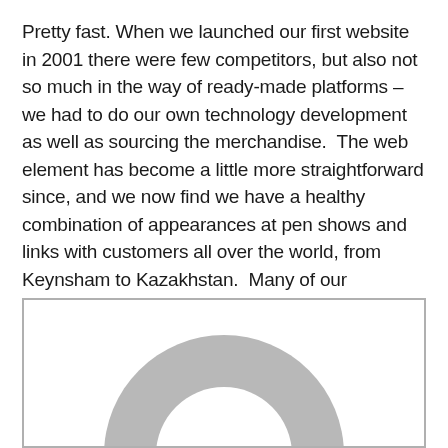Pretty fast. When we launched our first website in 2001 there were few competitors, but also not so much in the way of ready-made platforms – we had to do our own technology development as well as sourcing the merchandise.  The web element has become a little more straightforward since, and we now find we have a healthy combination of appearances at pen shows and links with customers all over the world, from Keynsham to Kazakhstan.  Many of our customers, and suppliers, are in the EU so there could be further developments around the corner.
[Figure (photo): Partial view of a circular/donut shaped object in grey, shown centered against a white background within a bordered box. The image is cropped and only the upper portion of the shape is visible.]